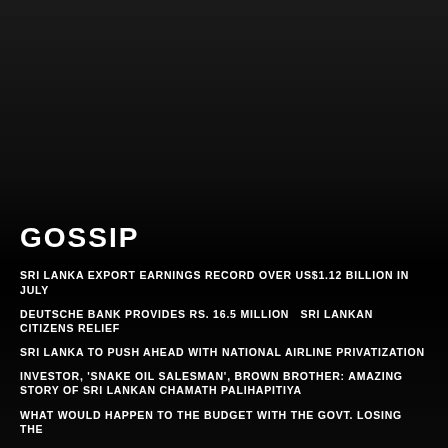GOSSIP
SRI LANKA EXPORT EARNINGS RECORD OVER US$1.12 BILLION IN JULY
DEUTSCHE BANK PROVIDES RS. 16.5 MILLION  SRI LANKAN CITIZENS RELIEF
SRI LANKA TO PUSH AHEAD WITH NATIONAL AIRLINE PRIVATIZATION
INVESTOR, 'SNAKE OIL SALESMAN', BROWN BROTHER: AMAZING STORY OF SRI LANKAN CHAMATH PALIHAPITIYA
WHAT WOULD HAPPEN TO THE BUDGET WITH THE GOVT. LOSING THE